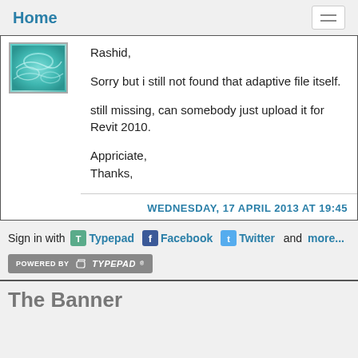Home
[Figure (photo): Small avatar thumbnail with teal/green abstract pattern]
Rashid,

Sorry but i still not found that adaptive file itself.

still missing, can somebody just upload it for Revit 2010.

Appriciate,
Thanks,
WEDNESDAY, 17 APRIL 2013 AT 19:45
Sign in with Typepad Facebook Twitter and more...
[Figure (logo): Powered by TypePad badge]
The Banner